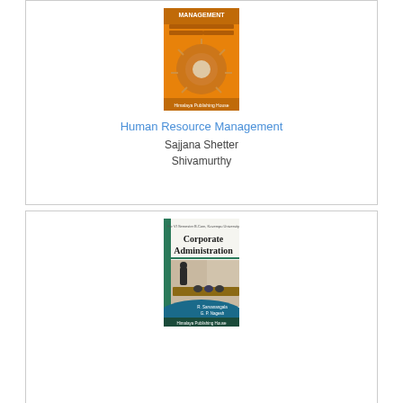[Figure (photo): Book cover of Human Resource Management, orange cover with authors Sajjana Shetter, Shivamurthy, Himalaya Publishing House]
Human Resource Management
Sajjana Shetter
Shivamurthy
[Figure (photo): Book cover of Corporate Administration, teal/blue cover with conference room photo, authors R. Sarvanangala, G.P. Nagesh, Himalaya Publishing House]